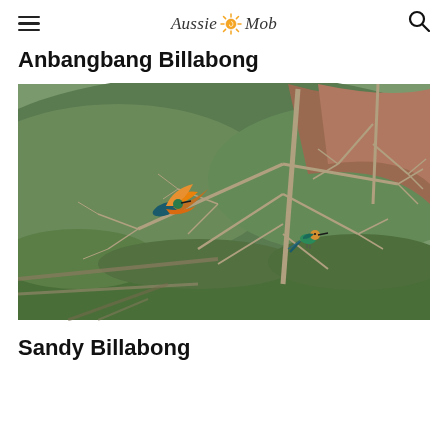Aussie Mob (logo with hamburger menu and search icon)
Anbangbang Billabong
[Figure (photo): Two colorful birds (bee-eaters) on bare tree branches with a green forested hillside in the background. One bird is in flight with wings spread showing orange and teal colors, the other is perched on a branch showing teal and orange plumage.]
Sandy Billabong